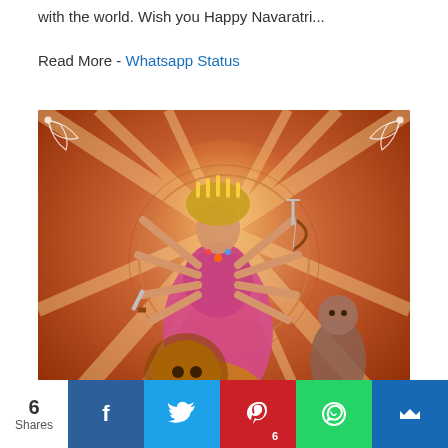with the world. Wish you Happy Navaratri...
Read More - Whatsapp Status
[Figure (photo): Happy Navaratri image showing Goddess Durga with multiple arms holding weapons, riding a lion, with decorative background. Text 'Happy Navaratri' at the bottom.]
6 Shares — Share buttons: Facebook, Twitter, Pinterest (6), WhatsApp, Email